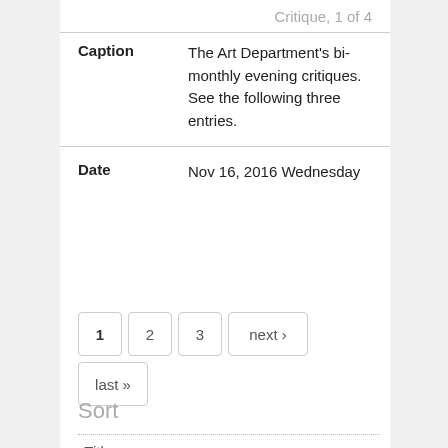Critique, 1 of 4
| Field | Value |
| --- | --- |
| Caption | The Art Department's bi-monthly evening critiques. See the following three entries. |
| Date | Nov 16, 2016 Wednesday |
1 2 3 next › last »
Sort
› Title